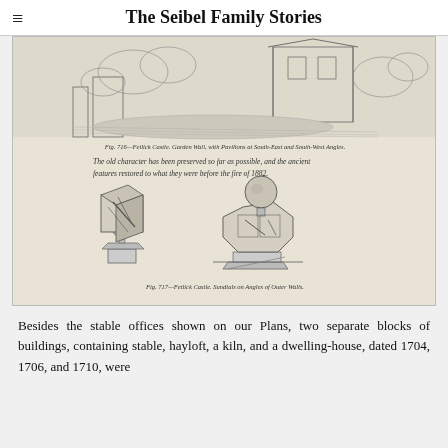The Seibel Family Stories
[Figure (illustration): Scanned page from a historical document showing: top portion — a sketch of Fetlick Castle garden wall with pavilions at south-east and south-west angles; caption reading 'Fig. 716—Fetlick Castle. Garden Wall, with Pavilions at South-East and South-West Angles.'; italic text 'The old character has been preserved so far as possible, and the ancient features restored to what they were before the fire of 1882.'; lower portion — two detailed architectural drawings of sundials on angles of outer walls; caption reading 'Fig. 717—Fetlick Castle. Sundials on Angles of Outer Walls.']
Besides the stable offices shown on our Plans, two separate blocks of buildings, containing stable, hayloft, a kiln, and a dwelling-house, dated 1704, 1706, and 1710, were